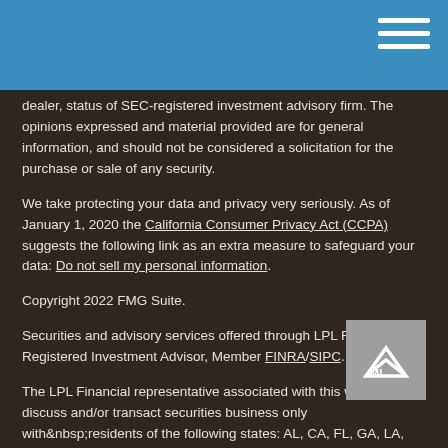dealer, status of SEC-registered investment advisory firm. The opinions expressed and material provided are for general information, and should not be considered a solicitation for the purchase or sale of any security.
We take protecting your data and privacy very seriously. As of January 1, 2020 the California Consumer Privacy Act (CCPA) suggests the following link as an extra measure to safeguard your data: Do not sell my personal information.
Copyright 2022 FMG Suite.
Securities and advisory services offered through LPL Financial, A Registered Investment Advisor, Member FINRA/SIPC.
The LPL Financial representative associated with this website may discuss and/or transact securities business only with residents of the following states: AL, CA, FL, GA, LA, MA, MD, MI, NV, and TX.
[Figure (logo): LML logo - white mountain peak on gray background]